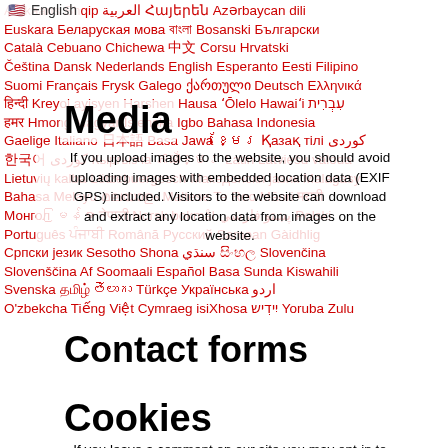English (flag)
Afrikaans Shqip العربية Հայերեն Azərbaycan dili Euskara Беларуская мова Bosanski Български Català Cebuano Chichewa Corsu Hrvatski Čeština Dansk Nederlands English Esperanto Eesti Filipino Suomi Français Frysk Galego ქართული Deutsch Ελληνικά Kreyol ayisyen Harshen Hausa ʻŌlelo Hawaiʻi עִבְרִית Hmong Magyar Íslenska Igbo Bahasa Indonesia Gaelige Italiano Basa Jawa Қазақ тілі كوردى Кыргызча ភាសាខ្មែរ Latin Latviešu valoda Lietuvių kalba Lëtzebuergesch Македонски јазик Malagasy Bahasa Melayu Maltese Te Reo Māori Монгол Norsk bokmål پښتو فارسي Polski Português Română Русский Samoan Gàidhlig Српски језик Sesotho Shona سنڌي Slovenčina Slovenščina Af Soomaali Español Basa Sunda Kiswahili Svenska Türkçe Українська اردو O'zbekcha Tiếng Việt Cymraeg isiXhosa Yoruba Zulu
Media
If you upload images to the website, you should avoid uploading images with embedded location data (EXIF GPS) included. Visitors to the website can download and extract any location data from images on the website.
Contact forms
Cookies
If you leave a comment on our site you may opt-in to saving your name, email address, and website in cookies. These are for your convenience so that you do not have to fill in your details again when you leave